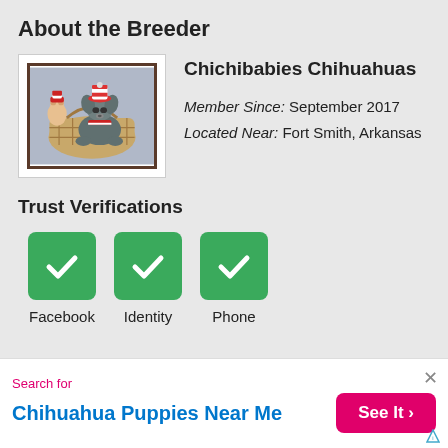About the Breeder
[Figure (photo): Photo of a small Chihuahua puppy wearing a hat sitting in a basket with a toy monkey, framed with a dark brown border]
Chichibabies Chihuahuas
Member Since:  September 2017
Located Near:  Fort Smith, Arkansas
Trust Verifications
[Figure (infographic): Three green checkmark badge icons labeled Facebook, Identity, Phone]
Search for
Chihuahua Puppies Near Me
See It >